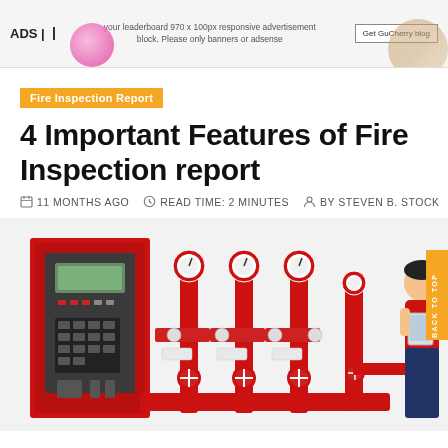[Figure (screenshot): Advertisement banner: 'ADS | your leaderboard 970x100px responsive advertisement block. Please only banners or adsense' with 'Get GuCherry blog' button and decorative elements]
Fire Inspection Report
4 Important Features of Fire Inspection report
11 MONTHS AGO   READ TIME: 2 MINUTES   BY STEVEN B. STOCK
[Figure (illustration): Illustration showing fire inspection equipment: red fire alarm control panel on the left, red fire suppression pipe system with gauges and valves in the center, and a person holding a tablet on the right. 'BACK TO TOP' text visible on right edge.]